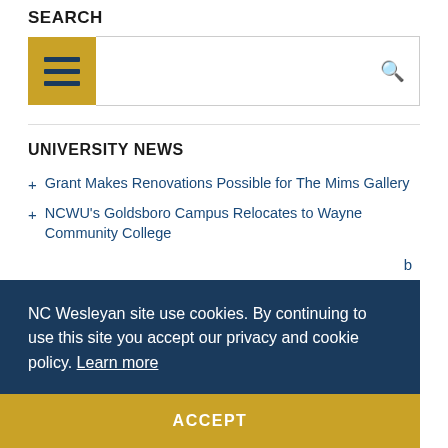SEARCH
[Figure (screenshot): Search bar with hamburger menu icon button on left and search magnifier icon on right]
UNIVERSITY NEWS
Grant Makes Renovations Possible for The Mims Gallery
NCWU's Goldsboro Campus Relocates to Wayne Community College
NC Wesleyan site use cookies. By continuing to use this site you accept our privacy and cookie policy. Learn more
ACCEPT
Provost